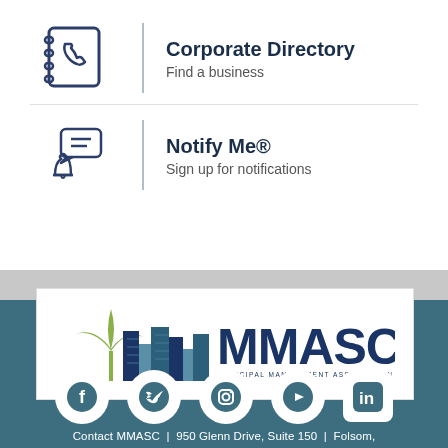[Figure (infographic): Corporate Directory icon: notebook with phone icon, followed by bold title 'Corporate Directory' and subtitle 'Find a business']
[Figure (infographic): Notify Me icon: bell with chat bubble icon, followed by bold title 'Notify Me®' and subtitle 'Sign up for notifications']
[Figure (logo): MMASC logo — Municipal Management Association of Southern California — with city skyline graphic and palm tree in blue/teal tones]
[Figure (infographic): Social media icons row: Facebook, Twitter, Instagram, YouTube, LinkedIn on teal background]
Contact MMASC | 950 Glenn Drive, Suite 150 | Folsom,